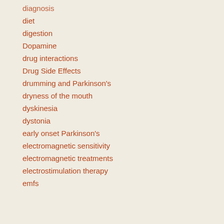diagnosis
diet
digestion
Dopamine
drug interactions
Drug Side Effects
drumming and Parkinson's
dryness of the mouth
dyskinesia
dystonia
early onset Parkinson's
electromagnetic sensitivity
electromagnetic treatments
electrostimulation therapy
emfs